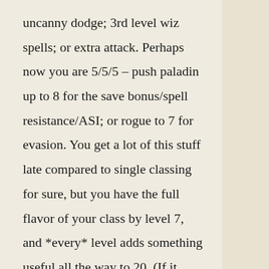uncanny dodge; 3rd level wiz spells; or extra attack. Perhaps now you are 5/5/5 – push paladin up to 8 for the save bonus/spell resistance/ASI; or rogue to 7 for evasion. You get a lot of this stuff late compared to single classing for sure, but you have the full flavor of your class by level 7, and *every* level adds something useful all the way to 20. (If it didn't jump out at you, this is actually a twist on the classic D&D Elven